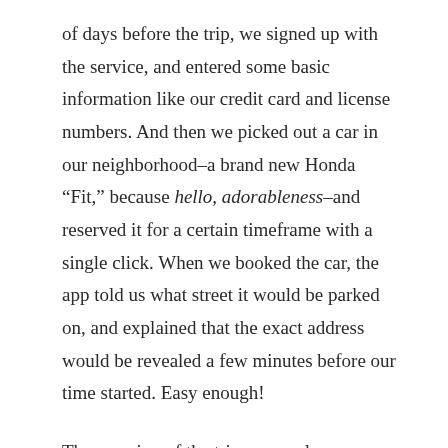of days before the trip, we signed up with the service, and entered some basic information like our credit card and license numbers. And then we picked out a car in our neighborhood–a brand new Honda “Fit,” because hello, adorableness–and reserved it for a certain timeframe with a single click. When we booked the car, the app told us what street it would be parked on, and explained that the exact address would be revealed a few minutes before our time started. Easy enough!

The morning of the trip, we made our way over to the street, and low and behold: the app revealed the exact location. Using the app, we unlocked the car right as our reservation began, and found the key–just as the app had indicated–in a little pouch under the driver’s sun visor. Once we returned the car back to its “home